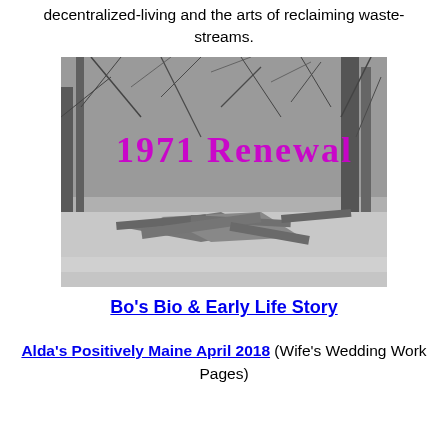decentralized-living and the arts of reclaiming waste-streams.
[Figure (photo): Black and white photograph of a collapsed or derelict wooden structure surrounded by bare trees and brush, with the text '1971 Renewal' overlaid in purple/magenta graffiti-style lettering.]
Bo's Bio & Early Life Story
Alda's Positively Maine April 2018 (Wife's Wedding Work Pages)